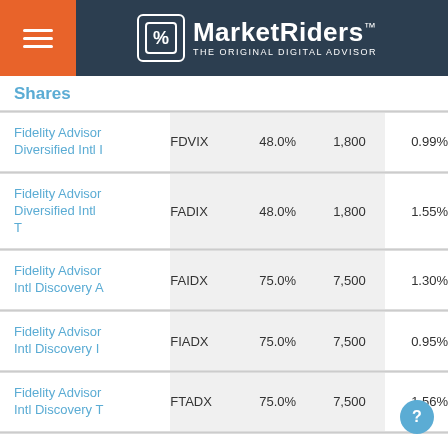MarketRiders — THE ORIGINAL DIGITAL ADVISOR
| Shares |  |  |  |  |
| --- | --- | --- | --- | --- |
| Fidelity Advisor Diversified Intl I | FDVIX | 48.0% | 1,800 | 0.99% |
| Fidelity Advisor Diversified Intl T | FADIX | 48.0% | 1,800 | 1.55% |
| Fidelity Advisor Intl Discovery A | FAIDX | 75.0% | 7,500 | 1.30% |
| Fidelity Advisor Intl Discovery I | FIADX | 75.0% | 7,500 | 0.95% |
| Fidelity Advisor Intl Discovery T | FTADX | 75.0% | 7,500 | 1.56% |